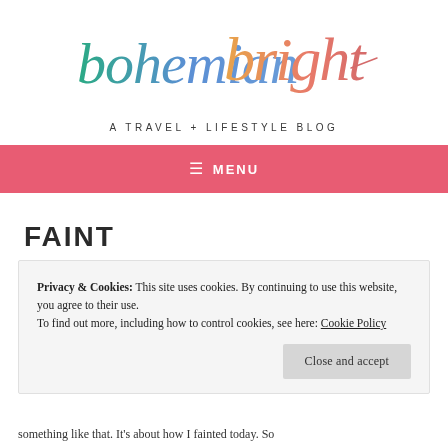[Figure (logo): Bohemian Bright handwritten script logo in multicolor gradient (teal, blue, orange, salmon/pink)]
A TRAVEL + LIFESTYLE BLOG
≡ MENU
FAINT
Privacy & Cookies: This site uses cookies. By continuing to use this website, you agree to their use.
To find out more, including how to control cookies, see here: Cookie Policy
Close and accept
something like that. It's about how I fainted today. So